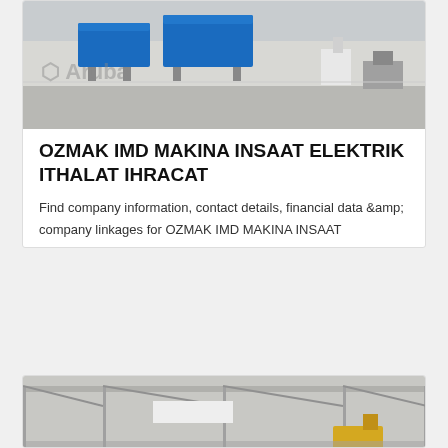[Figure (photo): Industrial warehouse photo with blue containers and equipment, with 'Aruba' watermark overlay]
OZMAK IMD MAKINA INSAAT ELEKTRIK ITHALAT IHRACAT
Find company information, contact details, financial data &amp; company linkages for OZMAK IMD MAKINA INSAAT ELEKTRIK ITHALAT IHRACAT SANAYI VE TICARET LIMITED SIRKETI of Bursa. Get the most accurate information from InfobelPro DataHub
[Figure (photo): Industrial warehouse interior with steel structure roof and equipment visible at bottom of page]